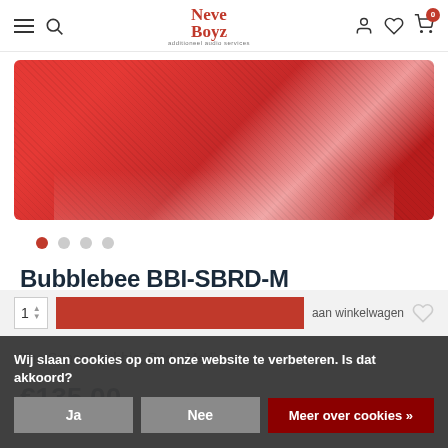Neve Boyz - additioneel audio services | Navigation: hamburger, search, logo, user, wishlist, cart(0)
[Figure (photo): Red foam/fabric material (Spacer Bubble) product image, partially cropped, showing textured red surface.]
Bubblebee BBI-SBRD-M
★★★★★  Merk: Bubblebee  |  Toon alle Windscreens
The Spacer Bubble, Red - Medium
€135,00
Excl. btw
Wij slaan cookies op om onze website te verbeteren. Is dat akkoord?
Ja | Nee | Meer over cookies »